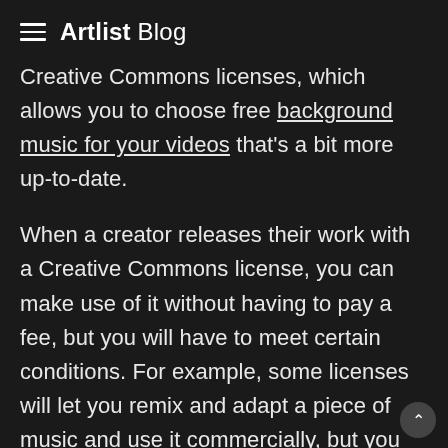Artlist Blog
Creative Commons licenses, which allows you to choose free background music for your videos that’s a bit more up-to-date.
When a creator releases their work with a Creative Commons license, you can make use of it without having to pay a fee, but you will have to meet certain conditions. For example, some licenses will let you remix and adapt a piece of music and use it commercially, but you must give attribution to the original creator. Other licenses will not allow you to adapt the work or use it commercially, and you must still give credit to the creator. When